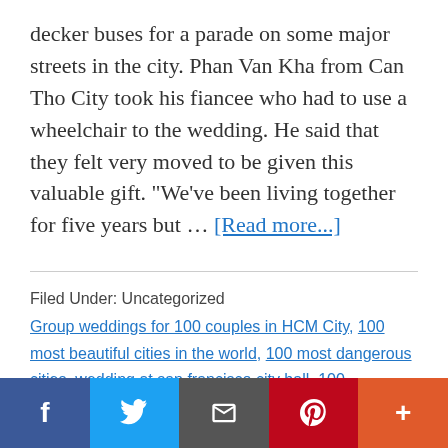decker buses for a parade on some major streets in the city. Phan Van Kha from Can Tho City took his fiancee who had to use a wheelchair to the wedding. He said that they felt very moved to be given this valuable gift. "We've been living together for five years but … [Read more...]
Filed Under: Uncategorized
Group weddings for 100 couples in HCM City, 100 most beautiful cities in the world, 100 most dangerous cities, wedding at san francisco city hall, 100 renewable energy cities, weddings 100 pics, map of hcm city, best hotel in hcm city, flight to hcm city, hotel hcm city, 100
[Figure (other): Social sharing bar with Facebook, Twitter, Email, Pinterest, and More buttons]